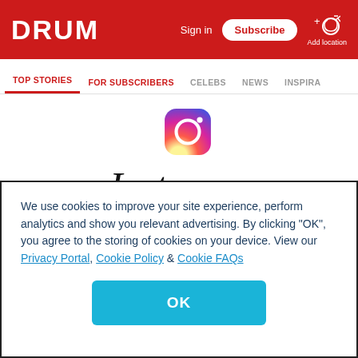DRUM — Sign in | Subscribe | Add location
TOP STORIES | FOR SUBSCRIBERS | CELEBS | NEWS | INSPIRA
[Figure (logo): Instagram logo icon (gradient camera icon) and Instagram wordmark in script font]
The link to this photo or video may be broken, or the post may have been removed.
We use cookies to improve your site experience, perform analytics and show you relevant advertising. By clicking "OK", you agree to the storing of cookies on your device. View our Privacy Portal, Cookie Policy & Cookie FAQs
OK